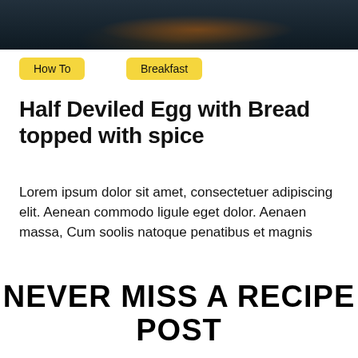[Figure (photo): Food photo showing a dark bowl with noodles and what appears to be shrimp on a dark background]
How To
Breakfast
Half Deviled Egg with Bread topped with spice
Lorem ipsum dolor sit amet, consectetuer adipiscing elit. Aenean commodo ligule eget dolor. Aenaen massa, Cum soolis natoque penatibus et magnis
Load More
NEVER MISS A RECIPE POST